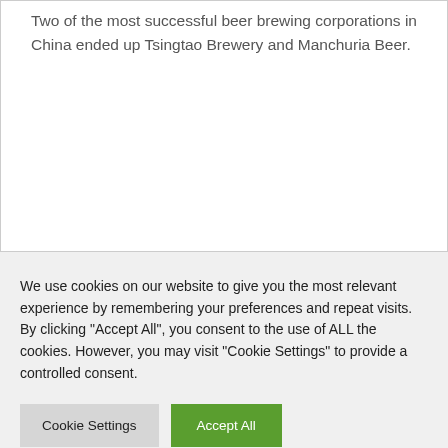Two of the most successful beer brewing corporations in China ended up Tsingtao Brewery and Manchuria Beer.
We use cookies on our website to give you the most relevant experience by remembering your preferences and repeat visits. By clicking "Accept All", you consent to the use of ALL the cookies. However, you may visit "Cookie Settings" to provide a controlled consent.